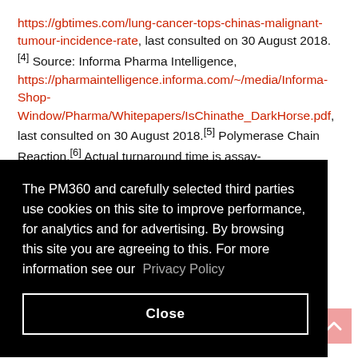https://gbtimes.com/lung-cancer-tops-chinas-malignant-tumour-incidence-rate, last consulted on 30 August 2018.[4] Source: Informa Pharma Intelligence, https://pharmaintelligence.informa.com/~/media/Informa-Shop-Window/Pharma/Whitepapers/IsChinathe_DarkHorse.pdf, last consulted on 30 August 2018.[5] Polymerase Chain Reaction.[6] Actual turnaround time is assay-type ... A CDx ... drug ... to a ... ics-
[Figure (screenshot): Cookie consent overlay banner in black background with white text reading: 'The PM360 and carefully selected third parties use cookies on this site to improve performance, for analytics and for advertising. By browsing this site you are agreeing to this. For more information see our Privacy Policy' with a Close button.]